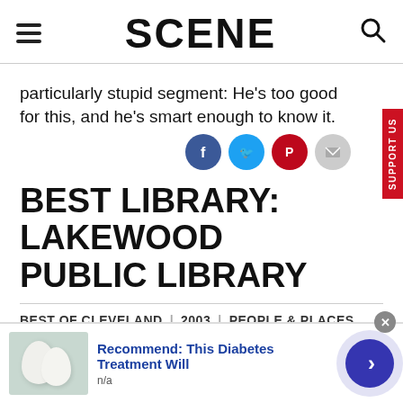SCENE
particularly stupid segment: He's too good for this, and he's smart enough to know it.
BEST LIBRARY: LAKEWOOD PUBLIC LIBRARY
BEST OF CLEVELAND | 2003 | PEOPLE & PLACES
[Figure (screenshot): Advertisement: Recommend: This Diabetes Treatment Will, with thumbnail image of eggs and a blue arrow button]